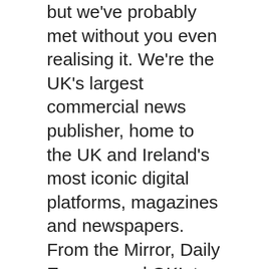but we've probably met without you even realising it. We're the UK's largest commercial news publisher, home to the UK and Ireland's most iconic digital platforms, magazines and newspapers. From the Mirror, Daily Express and OK!, to our regional titles such as the Liverpool Echo, MyLondon, Birmingham Live and the Manchester Evening News (plus lots more), our brands and the stories we cover are as varied as our people.
We're leading the way in digital advertising across our network, with an audience of over 47m each month – 83% online and 90% on mobile.
About the role
As one of our Digital Business Development Managers, you'll be charged with growing and